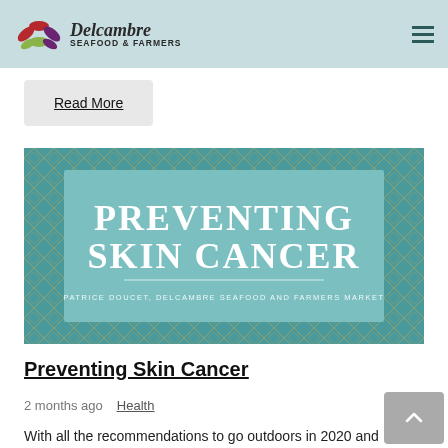Delcambre Seafood & Farmers
Read More
[Figure (illustration): Teal decorative image with diamond pattern border. Center panel reads PREVENTING SKIN CANCER in large white serif bold text with a horizontal divider line below, and subtitle text: PATRICE DOUCET, DELCAMBRE SEAFOOD AND FARMERS MARKET]
Preventing Skin Cancer
2 months ago   Health
With all the recommendations to go outdoors in 2020 and soak up some vitamin D, turns out that many